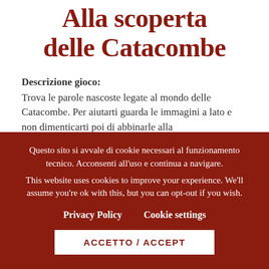Alla scoperta delle Catacombe
Descrizione gioco:
Trova le parole nascoste legate al mondo delle Catacombe. Per aiutarti guarda le immagini a lato e non dimenticarti poi di abbinarle alla
Questo sito si avvale di cookie necessari al funzionamento tecnico. Acconsenti all'uso e continua a navigare.
This website uses cookies to improve your experience. We'll assume you're ok with this, but you can opt-out if you wish.
Privacy Policy   Cookie settings
ACCETTO / ACCEPT